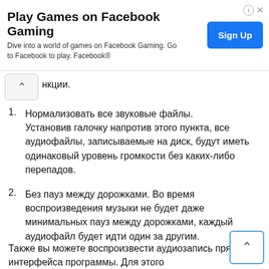[Figure (screenshot): Facebook Gaming advertisement banner with 'Play Games on Facebook Gaming' title, subtitle 'Dive into a world of games on Facebook Gaming. Go to Facebook to play. Facebook®', and a blue 'Sign Up' button on the right.]
нкции.
Нормализовать все звуковые файлы. Установив галочку напротив этого пункта, все аудиофайлы, записываемые на диск, будут иметь одинаковый уровень громкости без каких-либо перепадов.
Без пауз между дорожками. Во время воспроизведения музыки не будет даже минимальных пауз между дорожками, каждый аудиофайл будет идти один за другим.
Также вы можете воспроизвести аудиозапись прямо из интерфейса программы. Для этого